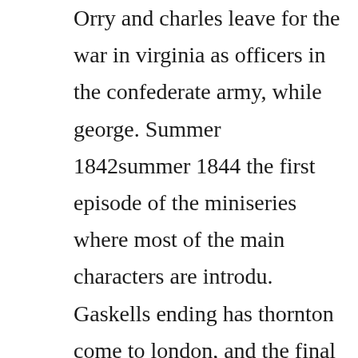Orry and charles leave for the war in virginia as officers in the confederate army, while george. Summer 1842summer 1844 the first episode of the miniseries where most of the main characters are introdu. Gaskells ending has thornton come to london, and the final pages place. North and south is the title of three american television miniseries broadcast on the abc network in 1985, 1986, and 1994. With wives and daughters 1865 and cranford 1853, it is one of her bestknown novels and was adapted for television three times 1966, 1975 and 2004. Disatisfied with his current